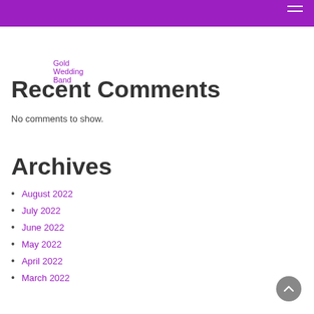Gold Wedding Band
Recent Comments
No comments to show.
Archives
August 2022
July 2022
June 2022
May 2022
April 2022
March 2022